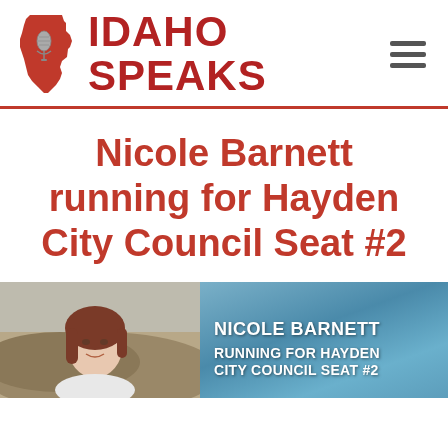[Figure (logo): Idaho Speaks logo with red Idaho state outline, microphone graphic, and bold red text 'IDAHO SPEAKS']
Nicole Barnett running for Hayden City Council Seat #2
[Figure (photo): Campaign image showing Nicole Barnett's headshot on the left and a mountain/lake background on the right with text overlay: NICOLE BARNETT RUNNING FOR HAYDEN CITY COUNCIL SEAT #2]